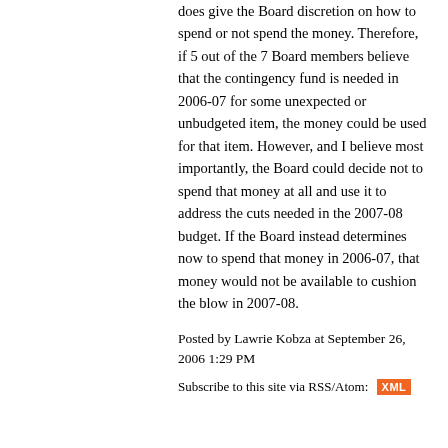does give the Board discretion on how to spend or not spend the money. Therefore, if 5 out of the 7 Board members believe that the contingency fund is needed in 2006-07 for some unexpected or unbudgeted item, the money could be used for that item. However, and I believe most importantly, the Board could decide not to spend that money at all and use it to address the cuts needed in the 2007-08 budget. If the Board instead determines now to spend that money in 2006-07, that money would not be available to cushion the blow in 2007-08.
Posted by Lawrie Kobza at September 26, 2006 1:29 PM
Subscribe to this site via RSS/Atom: XML